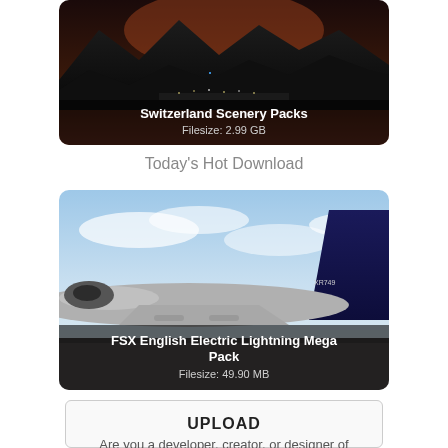[Figure (photo): Mountain scenery at night with dark sky and snow-capped peaks. Text overlay at bottom: 'Switzerland Scenery Packs' and 'Filesize: 2.99 GB']
Today's Hot Download
[Figure (photo): FSX English Electric Lightning military jet aircraft on tarmac with blue sky background. Dark overlay at bottom with text 'FSX English Electric Lightning Mega Pack' and 'Filesize: 49.90 MB']
UPLOAD
Are you a developer, creator, or designer of freeware add-ons for any of the flight simulator